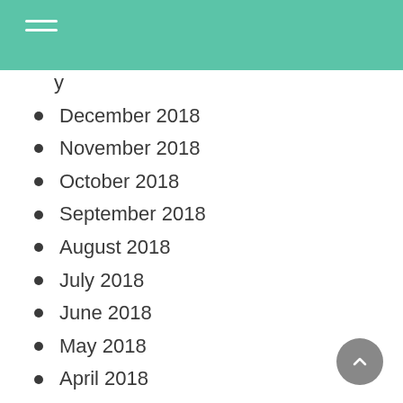January (partial, cut off at top)
December 2018
November 2018
October 2018
September 2018
August 2018
July 2018
June 2018
May 2018
April 2018
March 2018
February 2018
January 2018
December 2017
October 2017
September 2017
August 2017
July 2017 (partial, cut off at bottom)